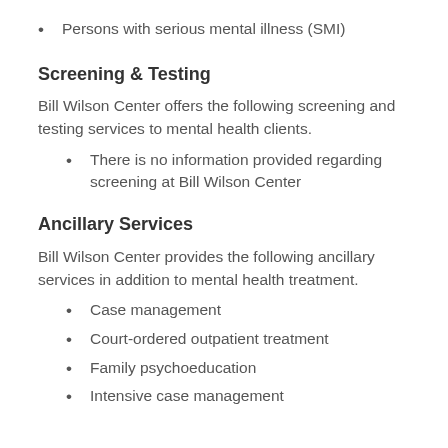Persons with serious mental illness (SMI)
Screening & Testing
Bill Wilson Center offers the following screening and testing services to mental health clients.
There is no information provided regarding screening at Bill Wilson Center
Ancillary Services
Bill Wilson Center provides the following ancillary services in addition to mental health treatment.
Case management
Court-ordered outpatient treatment
Family psychoeducation
Intensive case management